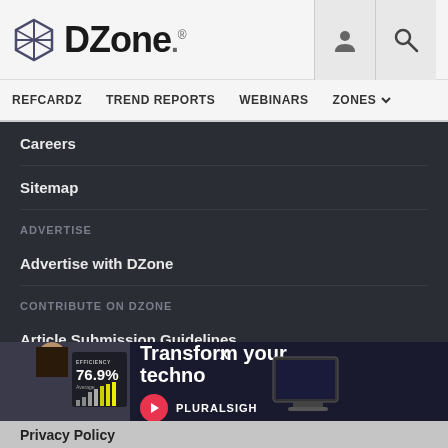DZone - REFCARDZ  TREND REPORTS  WEBINARS  ZONES
Careers
Sitemap
ADVERTISE
Advertise with DZone
CONTRIBUTE ON DZONE
Article Submission Guidelines
MVB Program
Become a Contributor
[Figure (screenshot): Ad overlay: Pluralsight advertisement - Transform your techno... with woman photo and efficiency stats 76.9%]
Privacy Policy